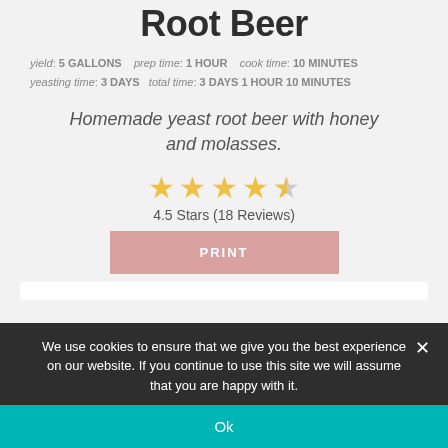Root Beer
yield: 5 GALLONS   prep time: 1 HOUR   cook time: 10 MINUTES   yeasting time: 3 DAYS   total time: 3 DAYS 1 HOUR 10 MINUTES
Homemade yeast root beer with honey and molasses.
[Figure (other): 4.5 star rating shown with gold stars]
4.5 Stars (18 Reviews)
PRINT
We use cookies to ensure that we give you the best experience on our website. If you continue to use this site we will assume that you are happy with it.
Ok